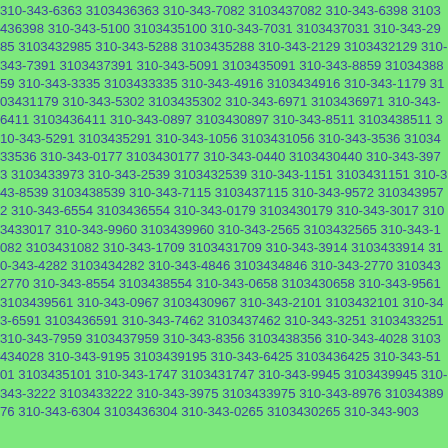310-343-6363 3103436363 310-343-7082 3103437082 310-343-6398 3103436398 310-343-5100 3103435100 310-343-7031 3103437031 310-343-2985 3103432985 310-343-5288 3103435288 310-343-2129 3103432129 310-343-7391 3103437391 310-343-5091 3103435091 310-343-8859 3103438859 310-343-3335 3103433335 310-343-4916 3103434916 310-343-1179 3103431179 310-343-5302 3103435302 310-343-6971 3103436971 310-343-6411 3103436411 310-343-0897 3103430897 310-343-8511 3103438511 310-343-5291 3103435291 310-343-1056 3103431056 310-343-3536 3103433536 310-343-0177 3103430177 310-343-0440 3103430440 310-343-3973 3103433973 310-343-2539 3103432539 310-343-1151 3103431151 310-343-8539 3103438539 310-343-7115 3103437115 310-343-9572 3103439572 310-343-6554 3103436554 310-343-0179 3103430179 310-343-3017 3103433017 310-343-9960 3103439960 310-343-2565 3103432565 310-343-1082 3103431082 310-343-1709 3103431709 310-343-3914 3103433914 310-343-4282 3103434282 310-343-4846 3103434846 310-343-2770 3103432770 310-343-8554 3103438554 310-343-0658 3103430658 310-343-9561 3103439561 310-343-0967 3103430967 310-343-2101 3103432101 310-343-6591 3103436591 310-343-7462 3103437462 310-343-3251 3103433251 310-343-7959 3103437959 310-343-8356 3103438356 310-343-4028 3103434028 310-343-9195 3103439195 310-343-6425 3103436425 310-343-5101 3103435101 310-343-1747 3103431747 310-343-9945 3103439945 310-343-3222 3103433222 310-343-3975 3103433975 310-343-8976 3103438976 310-343-6304 3103436304 310-343-0265 3103430265 310-343-903